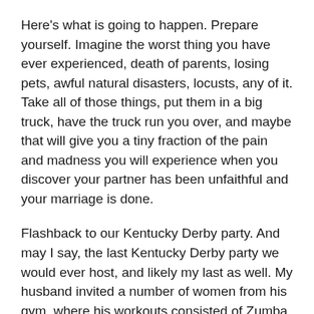Here's what is going to happen. Prepare yourself. Imagine the worst thing you have ever experienced, death of parents, losing pets, awful natural disasters, locusts, any of it. Take all of those things, put them in a big truck, have the truck run you over, and maybe that will give you a tiny fraction of the pain and madness you will experience when you discover your partner has been unfaithful and your marriage is done.
Flashback to our Kentucky Derby party. And may I say, the last Kentucky Derby party we would ever host, and likely my last as well. My husband invited a number of women from his gym, where his workouts consisted of Zumba class, Skinny Jeans class, Ripped class – you know, activities where lots of women would be.
From the moment she showed up, almost everyone at our party picked up on something that was off. She